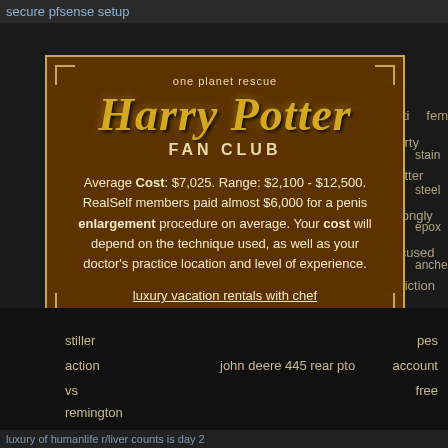secure pfsense setup
weduc
circled
southfield
array
school
parameter
fem
hilti
harty
stain
potter
steel
wrongly
epox
accused
anche
fanfiction
[Figure (screenshot): Harry Potter Fan Club advertisement modal with golden text title on dark brown background]
stiller
action
vs
remington
700
pes
account
free
john deere 445 rear pto
luxury vacation rentals with chef 2